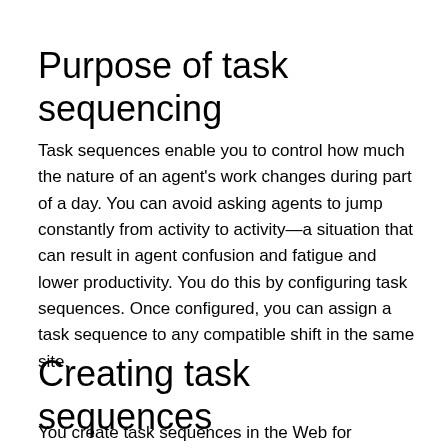Purpose of task sequencing
Task sequences enable you to control how much the nature of an agent's work changes during part of a day. You can avoid asking agents to jump constantly from activity to activity—a situation that can result in agent confusion and fatigue and lower productivity. You do this by configuring task sequences. Once configured, you can assign a task sequence to any compatible shift in the same site.
Creating task sequences
You create task sequences in the Web for Supervisors